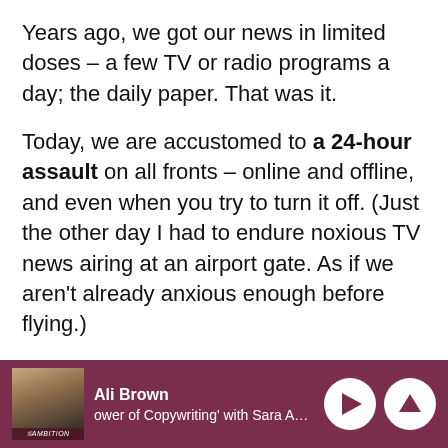Years ago, we got our news in limited doses – a few TV or radio programs a day; the daily paper. That was it.
Today, we are accustomed to a 24-hour assault on all fronts – online and offline, and even when you try to turn it off. (Just the other day I had to endure noxious TV news airing at an airport gate. As if we aren't already anxious enough before flying.)
The danger in this perpetual and often manufactured drama and outrage designed
Ali Brown | 'ower of Copywriting' with Sara Anna